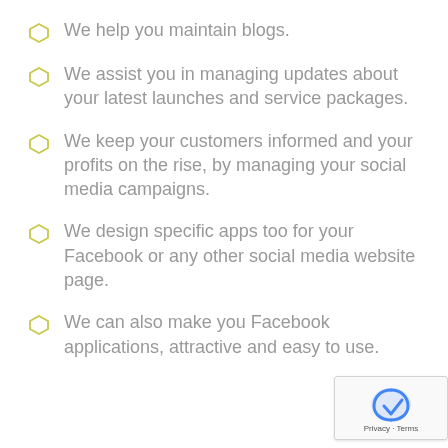We help you maintain blogs.
We assist you in managing updates about your latest launches and service packages.
We keep your customers informed and your profits on the rise, by managing your social media campaigns.
We design specific apps too for your Facebook or any other social media website page.
We can also make you Facebook applications, attractive and easy to use.